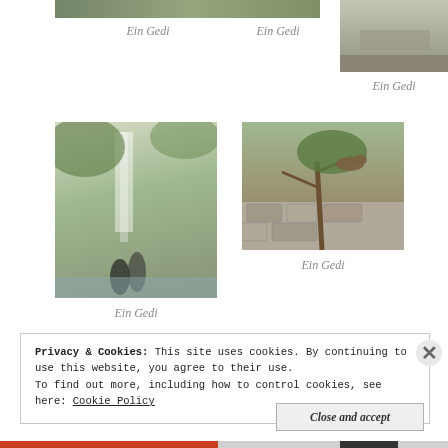[Figure (photo): Ein Gedi top strip photo (partial, cropped at top)]
Ein Gedi
Ein Gedi
[Figure (photo): Ein Gedi stone steps/waterfall photo on right side]
Ein Gedi
[Figure (photo): Ein Gedi waterfall with two people standing in front]
[Figure (photo): Ein Gedi animal in tree over stone wall]
Ein Gedi
Ein Gedi
Privacy & Cookies: This site uses cookies. By continuing to use this website, you agree to their use.
To find out more, including how to control cookies, see here: Cookie Policy
Close and accept